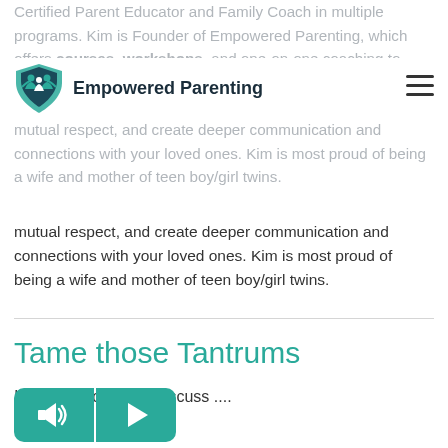Empowered Parenting
Certified Parent Educator and Family Coach in multiple programs. Kim is Founder of Empowered Parenting, which offers courses, workshops, and one-on-one coaching to parents, teachers, grandparents, healthcare workers, and counselors. Kim's goal for you is to help reduce conflict, foster mutual respect, and create deeper communication and connections with your loved ones. Kim is most proud of being a wife and mother of teen boy/girl twins.
Tame those Tantrums
In this Episode, We discuss ....
[Figure (other): Audio player with speaker/volume icon button and play/next button, both teal colored rounded rectangles]